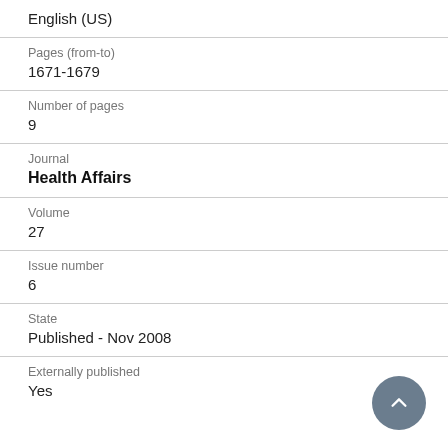English (US)
Pages (from-to)
1671-1679
Number of pages
9
Journal
Health Affairs
Volume
27
Issue number
6
State
Published - Nov 2008
Externally published
Yes